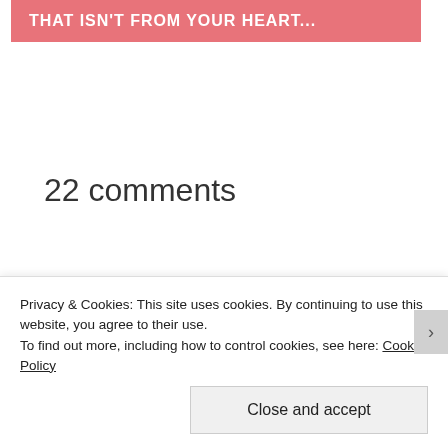[Figure (other): Pink/salmon colored banner with white bold text reading 'THAT ISN'T FROM YOUR HEART...']
22 comments
Privacy & Cookies: This site uses cookies. By continuing to use this website, you agree to their use.
To find out more, including how to control cookies, see here: Cookie Policy
Close and accept